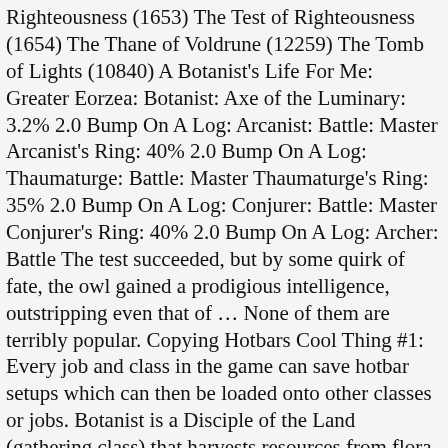Righteousness (1653) The Test of Righteousness (1654) The Thane of Voldrune (12259) The Tomb of Lights (10840) A Botanist's Life For Me: Greater Eorzea: Botanist: Axe of the Luminary: 3.2% 2.0 Bump On A Log: Arcanist: Battle: Master Arcanist's Ring: 40% 2.0 Bump On A Log: Thaumaturge: Battle: Master Thaumaturge's Ring: 35% 2.0 Bump On A Log: Conjurer: Battle: Master Conjurer's Ring: 40% 2.0 Bump On A Log: Archer: Battle The test succeeded, but by some quirk of fate, the owl gained a prodigious intelligence, outstripping even that of … None of them are terribly popular. Copying Hotbars Cool Thing #1: Every job and class in the game can save hotbar setups which can then be loaded onto other classes or jobs. Botanist is a Disciple of the Land (gathering class) that harvests resources from flora and fauna throughout Eorzea. Pressing Esc goes back a menu. Bind so you can run away… Not much else to say. 45 Grand Company There is zero warning saying if it is being glamour, it become bind to you. A scythe is a botanist's secondary tool and is used in harvesting crystals, reagents, cloth,